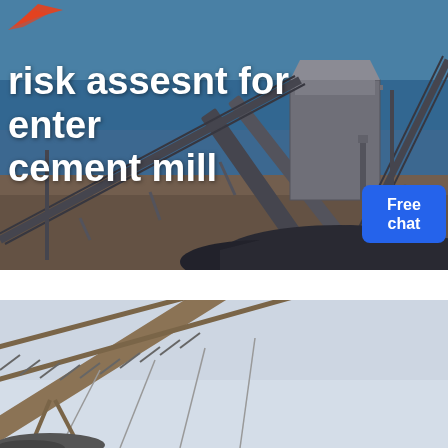[Figure (photo): Industrial cement mill conveyor belt system photographed outdoors with blue sky, multiple large steel conveyor belts and machinery, rocks/aggregate piled at base, a customer service representative figure in the upper right corner]
risk assesnt for enter cement mill
[Figure (other): Blue button/badge with text 'Free chat' and customer service icon]
[Figure (photo): Close-up industrial conveyor belt structure angled diagonally against a light grey/white sky background]